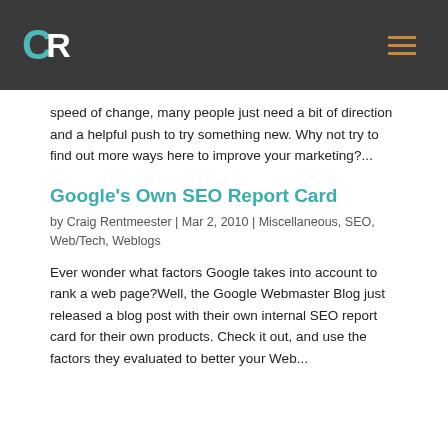CR (logo) | hamburger menu
speed of change, many people just need a bit of direction and a helpful push to try something new. Why not try to find out more ways here to improve your marketing?...
Google's Own SEO Report Card
by Craig Rentmeester | Mar 2, 2010 | Miscellaneous, SEO, Web/Tech, Weblogs
Ever wonder what factors Google takes into account to rank a web page?Well, the Google Webmaster Blog just released a blog post with their own internal SEO report card for their own products. Check it out, and use the factors they evaluated to better your Web...